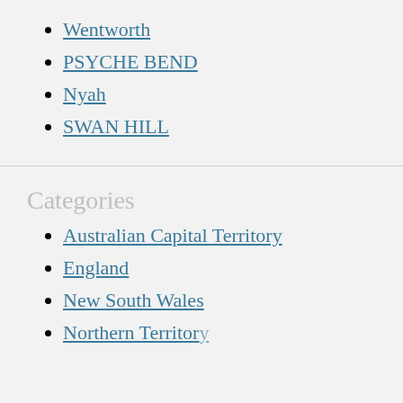Wentworth
PSYCHE BEND
Nyah
SWAN HILL
Categories
Australian Capital Territory
England
New South Wales
Northern Territory